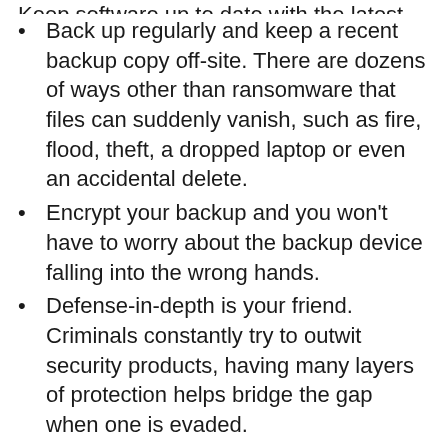Keep software up to date with the latest patches.
Back up regularly and keep a recent backup copy off-site. There are dozens of ways other than ransomware that files can suddenly vanish, such as fire, flood, theft, a dropped laptop or even an accidental delete.
Encrypt your backup and you won’t have to worry about the backup device falling into the wrong hands.
Defense-in-depth is your friend. Criminals constantly try to outwit security products, having many layers of protection helps bridge the gap when one is evaded.
RELATED STORIES
Ransomware variants almost double in six months – FortiGuard
Ransomware attacks for 2023...